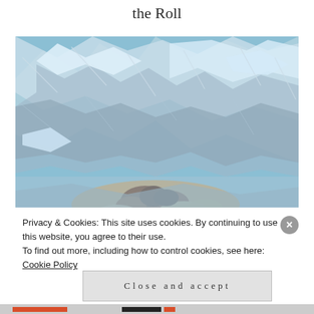the Roll
[Figure (photo): A food item wrapped in crinkled aluminum foil, partially unwrapped showing cooked meat and food contents, photographed close-up against a blue background.]
Privacy & Cookies: This site uses cookies. By continuing to use this website, you agree to their use.
To find out more, including how to control cookies, see here: Cookie Policy
Close and accept